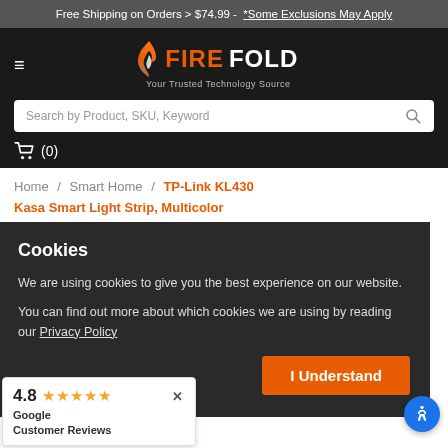Free Shipping on Orders > $74.99 - *Some Exclusions May Apply
[Figure (logo): FireFold logo with flame icon and tagline 'Your Trusted Technology Source']
Search by Product, SKU, Keyword
(0)
Home / Smart Home / TP-Link KL430 Kasa Smart Light Strip, Multicolor
Cookies
We are using cookies to give you the best experience on our website.
You can find out more about which cookies we are using by reading our Privacy Policy
I Understand
4.8 ★★★★★ Google Customer Reviews